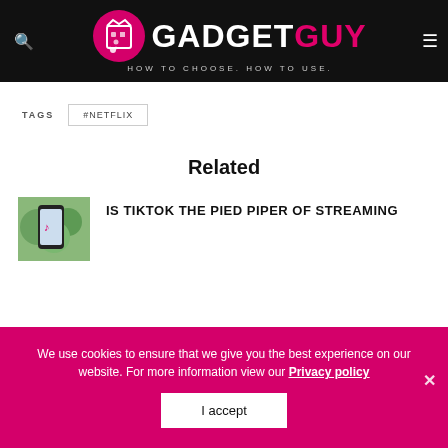GADGET GUY — HOW TO CHOOSE. HOW TO USE.
TAGS  #NETFLIX
Related
IS TIKTOK THE PIED PIPER OF STREAMING
[Figure (photo): Thumbnail image of a smartphone showing TikTok app, with green foliage background]
We use cookies to ensure that we give you the best experience on our website. For more information view our Privacy policy
I accept